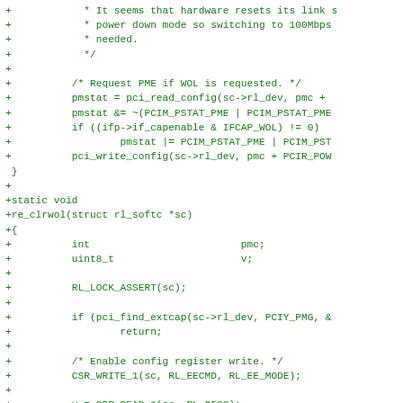[Figure (other): Source code diff (patch) in C showing network driver code for WOL (Wake-on-LAN) functionality including re_clrwol function with PCI config register operations]